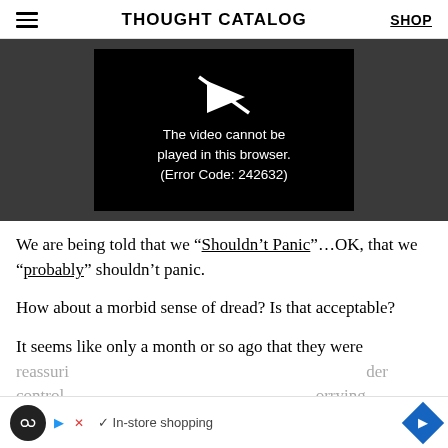THOUGHT CATALOG  SHOP
[Figure (screenshot): Video player showing error message: 'The video cannot be played in this browser. (Error Code: 242632)' with a broken video icon on black background within a dark gray container.]
We are being told that we “Shouldn’t Panic”…OK, that we “probably” shouldn’t panic.
How about a morbid sense of dread? Is that acceptable?
It seems like only a month or so ago that they were reassuri... der control,... orrying too mu...
[Figure (screenshot): Advertisement bar at bottom with circular black icon, play button, X button, checkmark, 'In-store shopping' text, and blue diamond navigation icon.]